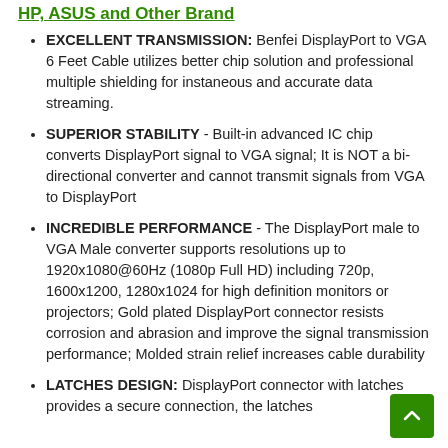HP, ASUS and Other Brand
EXCELLENT TRANSMISSION: Benfei DisplayPort to VGA 6 Feet Cable utilizes better chip solution and professional multiple shielding for instaneous and accurate data streaming.
SUPERIOR STABILITY - Built-in advanced IC chip converts DisplayPort signal to VGA signal; It is NOT a bi-directional converter and cannot transmit signals from VGA to DisplayPort
INCREDIBLE PERFORMANCE - The DisplayPort male to VGA Male converter supports resolutions up to 1920x1080@60Hz (1080p Full HD) including 720p, 1600x1200, 1280x1024 for high definition monitors or projectors; Gold plated DisplayPort connector resists corrosion and abrasion and improve the signal transmission performance; Molded strain relief increases cable durability
LATCHES DESIGN: DisplayPort connector with latches provides a secure connection, the latches